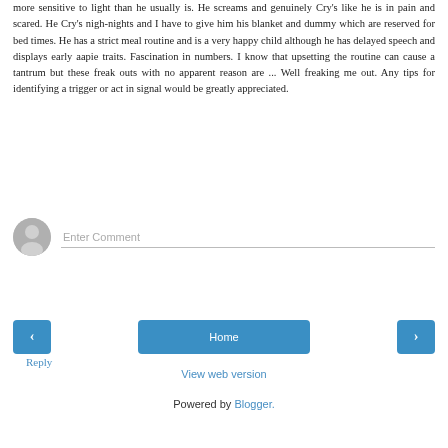more sensitive to light than he usually is. He screams and genuinely Cry's like he is in pain and scared. He Cry's nigh-nights and I have to give him his blanket and dummy which are reserved for bed times. He has a strict meal routine and is a very happy child although he has delayed speech and displays early aapie traits. Fascination in numbers. I know that upsetting the routine can cause a tantrum but these freak outs with no apparent reason are ... Well freaking me out. Any tips for identifying a trigger or act in signal would be greatly appreciated.
Reply
[Figure (illustration): User avatar circle with generic person silhouette icon, gray background]
Enter Comment
[Figure (screenshot): Navigation bar with left arrow button, Home button, and right arrow button in teal/blue color]
View web version
Powered by Blogger.